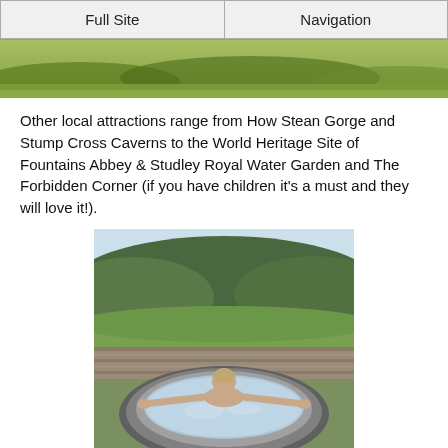Full Site | Navigation
[Figure (photo): Aerial/landscape photo showing green grassy hillside]
Other local attractions range from How Stean Gorge and Stump Cross Caverns to the World Heritage Site of Fountains Abbey & Studley Royal Water Garden and The Forbidden Corner (if you have children it's a must and they will love it!).
[Figure (photo): Person relaxing in an inflatable outdoor hot tub with countryside hills and dry stone wall in the background]